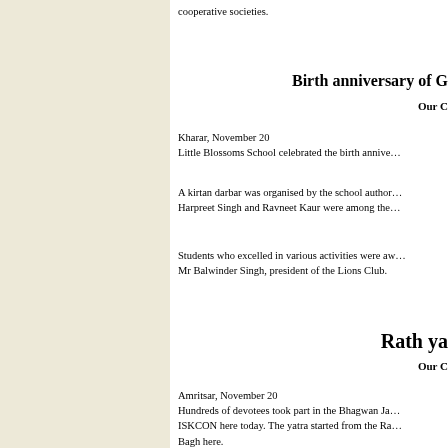cooperative societies.
Birth anniversary of G
Our C
Kharar, November 20
Little Blossoms School celebrated the birth annive...
A kirtan darbar was organised by the school author... Harpreet Singh and Ravneet Kaur were among the...
Students who excelled in various activities were aw... Mr Balwinder Singh, president of the Lions Club.
Rath ya
Our C
Amritsar, November 20
Hundreds of devotees took part in the Bhagwan Ja... ISKCON here today. The yatra started from the Ra... Bagh here.